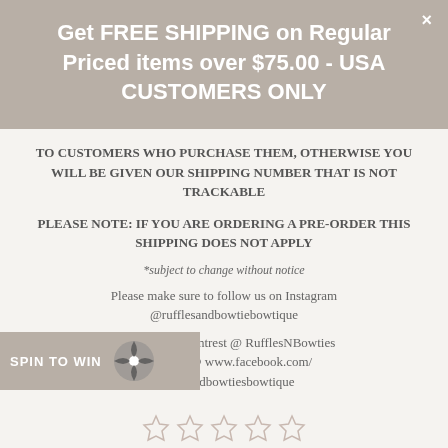Get FREE SHIPPING on Regular Priced items over $75.00 - USA CUSTOMERS ONLY
TO CUSTOMERS WHO PURCHASE THEM, OTHERWISE YOU WILL BE GIVEN OUR SHIPPING NUMBER THAT IS NOT TRACKABLE
PLEASE NOTE: IF YOU ARE ORDERING A PRE-ORDER THIS SHIPPING DOES NOT APPLY
*subject to change without notice
Please make sure to follow us on Instagram @rufflesandbowtiebowtique
Follow us on Pintrest @ RufflesNBowties Facebook @ www.facebook.com/ rufflesandbowtiesbowtique
[Figure (other): Spin to Win button with spinner icon]
[Figure (other): Five empty star rating icons]